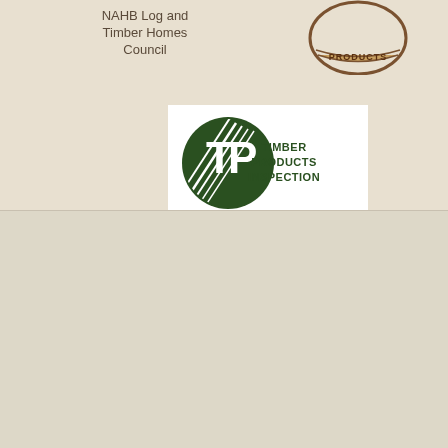NAHB Log and Timber Homes Council
[Figure (logo): Circular product badge logo with brown border and 'PRODUCTS' text]
[Figure (logo): Timber Products Inspection logo - green circle with TP letters and diagonal lines, text reads TIMBER PRODUCTS INSPECTION]
ABOUT
FLOOR PLANS
GALLERY
PACKAGES
CONTACT
PROJECTS